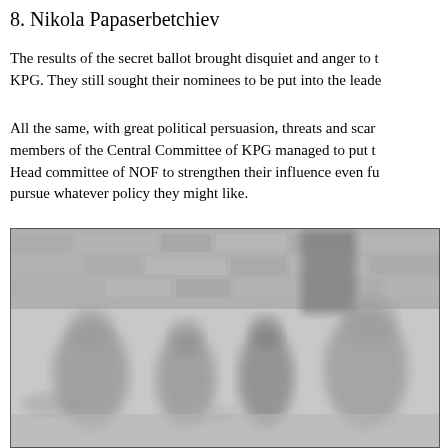8. Nikola Papaserbetchiev
The results of the secret ballot brought disquiet and anger to the KPG. They still sought their nominees to be put into the leadership.
All the same, with great political persuasion, threats and scaremongering, members of the Central Committee of KPG managed to put their men into the Head committee of NOF to strengthen their influence even further and pursue whatever policy they might like.
[Figure (photo): A blurry black-and-white photograph showing a group of people gathered in front of a stone or brick wall. The image is low resolution and shows several figures, some partially visible.]